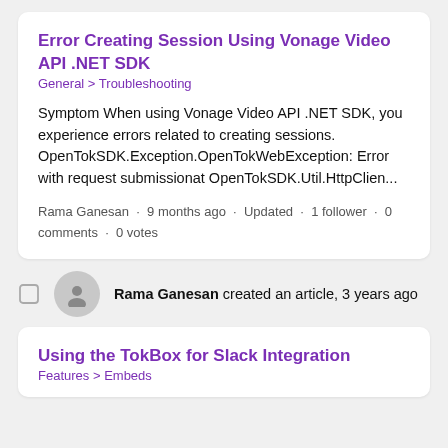Error Creating Session Using Vonage Video API .NET SDK
General > Troubleshooting
Symptom When using Vonage Video API .NET SDK, you experience errors related to creating sessions. OpenTokSDK.Exception.OpenTokWebException: Error with request submissionat OpenTokSDK.Util.HttpClien...
Rama Ganesan · 9 months ago · Updated · 1 follower · 0 comments · 0 votes
Rama Ganesan created an article, 3 years ago
Using the TokBox for Slack Integration
Features > Embeds